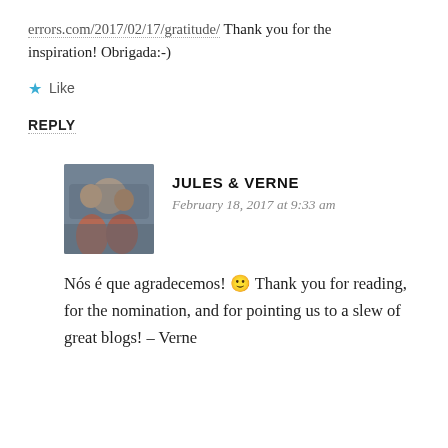errors.com/2017/02/17/gratitude/  Thank you for the inspiration! Obrigada:-)
Like
REPLY
JULES & VERNE
February 18, 2017 at 9:33 am
[Figure (photo): Avatar photo of Jules & Verne, two people in a vehicle]
Nós é que agradecemos! 🙂 Thank you for reading, for the nomination, and for pointing us to a slew of great blogs! – Verne